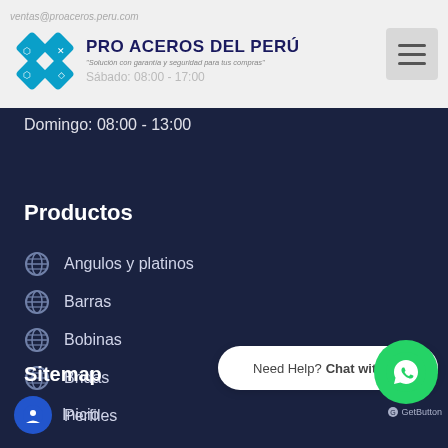ventas@proaceros.peru.com | Pro Aceros del Perú - Sábado: 08:00 - 17:00
Domingo: 08:00 - 13:00
Productos
Angulos y platinos
Barras
Bobinas
Bridas
Perfiles
Sitemap
Inicio
Need Help? Chat with us